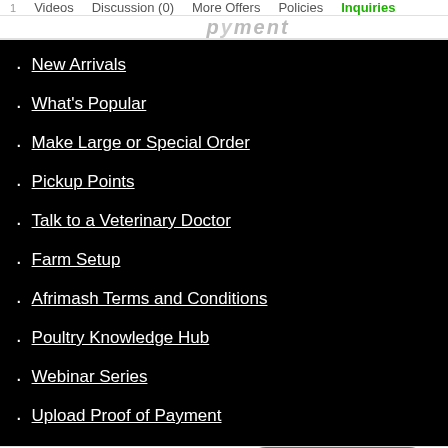Videos  Discussion (0)  More Offers  Policies  Inquiries
New Arrivals
What's Popular
Make Large or Special Order
Pickup Points
Talk to a Veterinary Doctor
Farm Setup
Afrimash Terms and Conditions
Poultry Knowledge Hub
Webinar Series
Upload Proof of Payment
₦1,650,000.00  BUY NOW